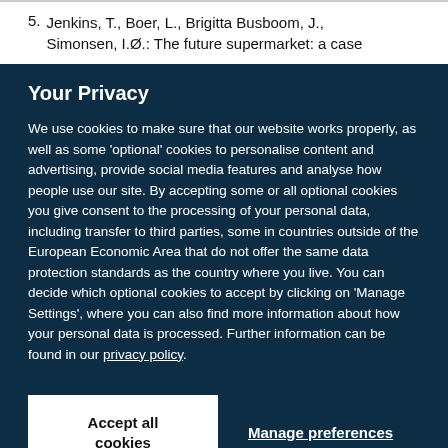5. Jenkins, T., Boer, L., Brigitta Busboom, J., Simonsen, I.Ø.: The future supermarket: a case
Your Privacy
We use cookies to make sure that our website works properly, as well as some 'optional' cookies to personalise content and advertising, provide social media features and analyse how people use our site. By accepting some or all optional cookies you give consent to the processing of your personal data, including transfer to third parties, some in countries outside of the European Economic Area that do not offer the same data protection standards as the country where you live. You can decide which optional cookies to accept by clicking on 'Manage Settings', where you can also find more information about how your personal data is processed. Further information can be found in our privacy policy.
Accept all cookies
Manage preferences